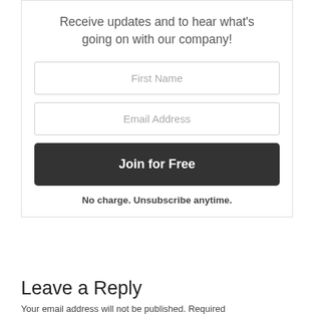Receive updates and to hear what's going on with our company!
First Name
Email Address
Join for Free
No charge. Unsubscribe anytime.
Leave a Reply
Your email address will not be published. Required